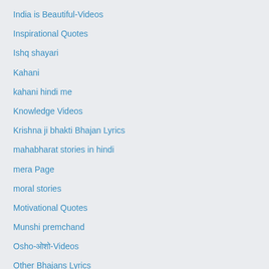India is Beautiful-Videos
Inspirational Quotes
Ishq shayari
Kahani
kahani hindi me
Knowledge Videos
Krishna ji bhakti Bhajan Lyrics
mahabharat stories in hindi
mera Page
moral stories
Motivational Quotes
Munshi premchand
Osho-ओशो-Videos
Other Bhajans Lyrics
p-page